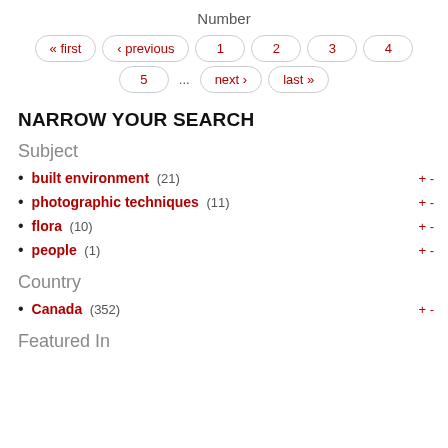Number
« first  ‹ previous  1  2  3  4  5  ...  next ›  last »
NARROW YOUR SEARCH
Subject
built environment (21) + -
photographic techniques (11) + -
flora (10) + -
people (1) + -
Country
Canada (352) + -
Featured In